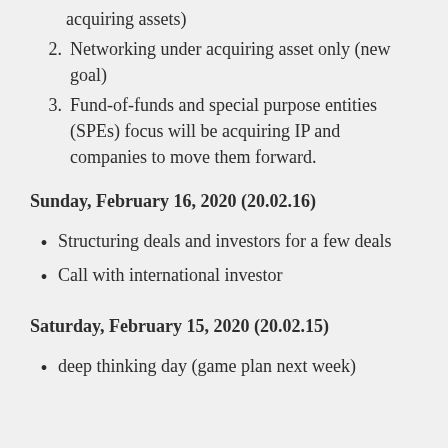acquiring assets)
Networking under acquiring asset only (new goal)
Fund-of-funds and special purpose entities (SPEs) focus will be acquiring IP and companies to move them forward.
Sunday, February 16, 2020 (20.02.16)
Structuring deals and investors for a few deals
Call with international investor
Saturday, February 15, 2020 (20.02.15)
deep thinking day (game plan next week)